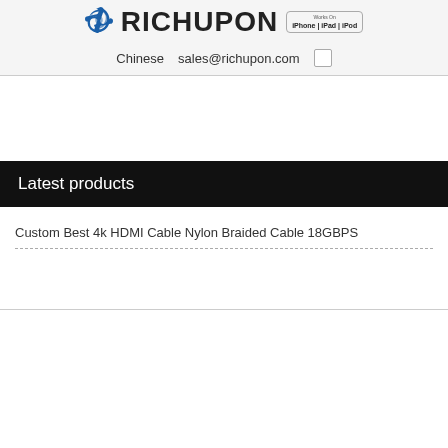RICHUPON | iPhone | iPad | iPod
Chinese  sales@richupon.com
Latest products
Custom Best 4k HDMI Cable Nylon Braided Cable 18GBPS